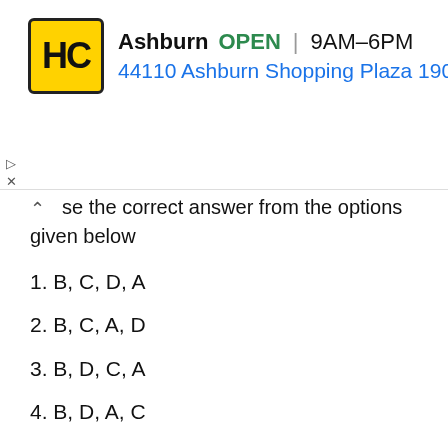[Figure (screenshot): Advertisement banner for HC Ashburn store showing logo, OPEN status, hours 9AM-6PM, address 44110 Ashburn Shopping Plaza 190, A..., and navigation icon]
ose the correct answer from the options given below
1. B, C, D, A
2. B, C, A, D
3. B, D, C, A
4. B, D, A, C
Answer:  1
Q.43 Identify sampling procedures in which units are